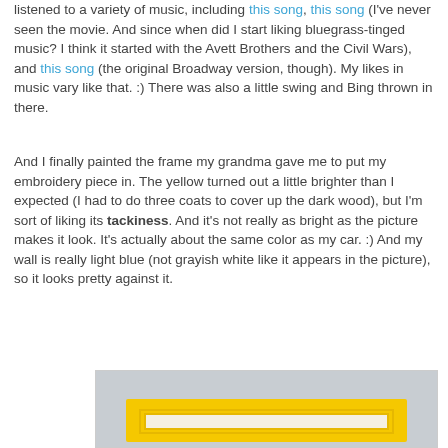listened to a variety of music, including this song, this song (I've never seen the movie. And since when did I start liking bluegrass-tinged music? I think it started with the Avett Brothers and the Civil Wars), and this song (the original Broadway version, though). My likes in music vary like that. :) There was also a little swing and Bing thrown in there.
And I finally painted the frame my grandma gave me to put my embroidery piece in. The yellow turned out a little brighter than I expected (I had to do three coats to cover up the dark wood), but I'm sort of liking its tackiness. And it's not really as bright as the picture makes it look. It's actually about the same color as my car. :) And my wall is really light blue (not grayish white like it appears in the picture), so it looks pretty against it.
[Figure (photo): A yellow painted picture frame leaning against a light blue/gray wall. The frame has multiple grooves/ridges on it and contains a light-colored insert. The frame appears bright yellow.]